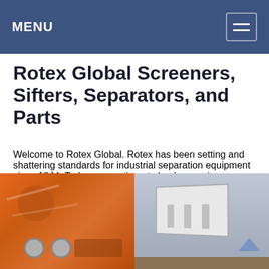MENU
Rotex Global Screeners, Sifters, Separators, and Parts
Welcome to Rotex Global. Rotex has been setting and shattering standards for industrial separation equipment since 1844. Today we continue to lead screening innovation with the world"s finest …
[Figure (photo): Close-up of orange industrial equipment surface with bolts and scratch marks]
[Figure (photo): Industrial screening/separation machine in an outdoor setting on dirt ground under overcast sky]